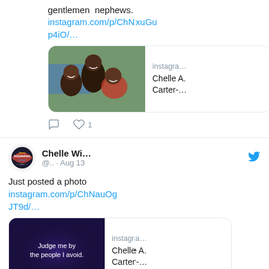gentlemen nephews.
instagram.com/p/ChNxuGup4iO/…
[Figure (screenshot): Instagram link card showing photo of three people smiling outdoors, with label 'instagra… Chelle A. Carter-...']
[Figure (screenshot): Tweet action icons: comment and heart with count 1]
[Figure (screenshot): Twitter profile avatar showing 'holybadass' themed circular badge]
Chelle Wi... @.. · Aug 13
Just posted a photo
instagram.com/p/ChNauOgJT9d/…
[Figure (screenshot): Instagram link card showing dark blue image with text 'Judge me by the people I avoid.' and label 'instagra… Chelle A. Carter-...']